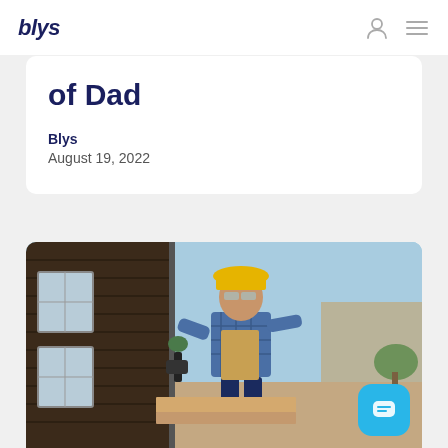blys
of Dad
Blys
August 19, 2022
[Figure (photo): Construction worker wearing a yellow hard hat and plaid shirt, using a power drill on wooden boards outside a building under construction. Clear blue sky background.]